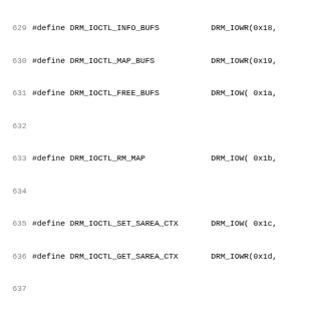629 #define DRM_IOCTL_INFO_BUFS    DRM_IOWR(0x18,
630 #define DRM_IOCTL_MAP_BUFS     DRM_IOWR(0x19,
631 #define DRM_IOCTL_FREE_BUFS    DRM_IOW( 0x1a,
632
633 #define DRM_IOCTL_RM_MAP       DRM_IOW( 0x1b,
634
635 #define DRM_IOCTL_SET_SAREA_CTX  DRM_IOW( 0x1c,
636 #define DRM_IOCTL_GET_SAREA_CTX  DRM_IOWR(0x1d,
637
638 #define DRM_IOCTL_ADD_CTX      DRM_IOWR(0x20,
639 #define DRM_IOCTL_RM_CTX       DRM_IOWR(0x21,
640 #define DRM_IOCTL_MOD_CTX      DRM_IOW( 0x22,
641 #define DRM_IOCTL_GET_CTX      DRM_IOWR(0x23,
642 #define DRM_IOCTL_SWITCH_CTX   DRM_IOW( 0x24,
643 #define DRM_IOCTL_NEW_CTX      DRM_IOW( 0x25,
644 #define DRM_IOCTL_RES_CTX      DRM_IOWR(0x26,
645 #define DRM_IOCTL_ADD_DRAW     DRM_IOWR(0x27,
646 #define DRM_IOCTL_RM_DRAW      DRM_IOWR(0x28,
647 #define DRM_IOCTL_DMA          DRM_IOWR(0x29,
648 #define DRM_IOCTL_LOCK         DRM_IOW( 0x2a,
649 #define DRM_IOCTL_UNLOCK       DRM_IOW( 0x2b,
650 #define DRM_IOCTL_FINISH       DRM_IOW( 0x2c,
651
652 #define DRM_IOCTL_AGP_ACQUIRE  DRM_IO(  0x30)
653 #define DRM_IOCTL_AGP_RELEASE  DRM_IO(  0x31)
654 #define DRM_IOCTL_AGP_ENABLE   DRM_IOW( 0x32,
655 #define DRM_IOCTL_AGP_INFO     DRM_IOR( 0x33,
656 #define DRM_IOCTL_AGP_ALLOC    DRM_IOWR(0x34,
657 #define DRM_IOCTL_AGP_FREE     DRM_IOW( 0x35,
658 #define DRM_IOCTL_AGP_BIND     DRM_IOW( 0x36,
659 #define DRM_IOCTL_AGP_UNBIND   DRM_IOW( 0x37,
660
661 #define DRM_IOCTL_SG_ALLOC     DRM_IOW( 0x38,